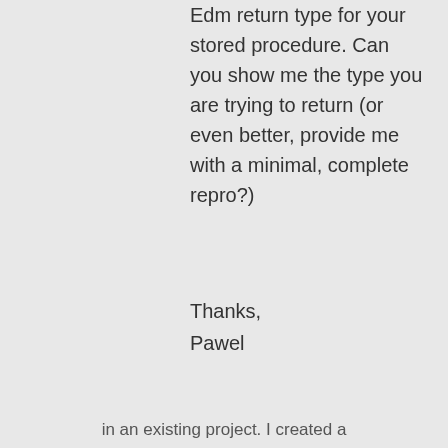Edm return type for your stored procedure. Can you show me the type you are trying to return (or even better, provide me with a minimal, complete repro?)
Thanks,
Pawel
★ Like
↳ Reply
Privacy & Cookies: This site uses cookies. By continuing to use this website, you agree to their use.
To find out more, including how to control cookies, see here: Cookie Policy
Close and accept
in an existing project. I created a